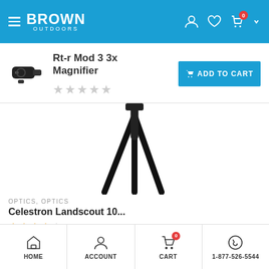Brown Outdoors
Rt-r Mod 3 3x Magnifier
★★★★★ (empty stars)
[Figure (photo): Product image of Rt-r Mod 3 3x Magnifier rifle scope magnifier]
ADD TO CART
[Figure (photo): Tripod legs of Celestron Landscout telescope, showing black metal legs of a tripod from a low angle]
OPTICS, OPTICS
Celestron Landscout 10...
★★★★★ (4 filled, 1 empty)
$91.95  $86.59
HOME  ACCOUNT  CART  1-877-526-5544